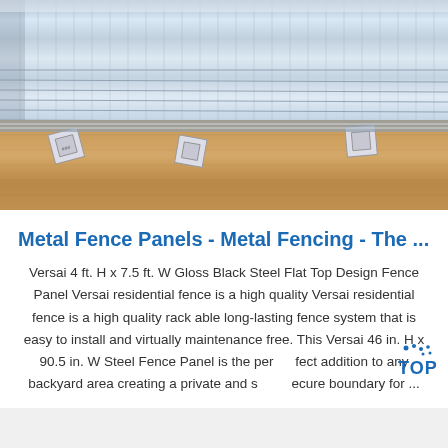[Figure (photo): Photo of stacked metal fence panels (silvery/blue corrugated sheets) laid on brown kraft paper packaging, with small square label tags scattered on the paper below]
Metal Fence Panels - Metal Fencing - The ...
Versai 4 ft. H x 7.5 ft. W Gloss Black Steel Flat Top Design Fence Panel Versai residential fence is a high quality Versai residential fence is a high quality rack able long-lasting fence system that is easy to install and virtually maintenance free. This Versai 46 in. H x 90.5 in. W Steel Fence Panel is the perfect addition to any backyard area creating a private and secure boundary for ...